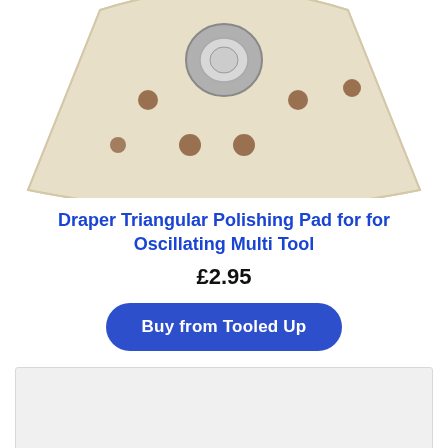[Figure (photo): A triangular polishing pad for an oscillating multi tool, cream/off-white colored with brown dust holes and a central mounting hole, viewed from below/front.]
Draper Triangular Polishing Pad for for Oscillating Multi Tool
£2.95
Buy from Tooled Up
[Figure (other): A light grey rectangular placeholder box.]